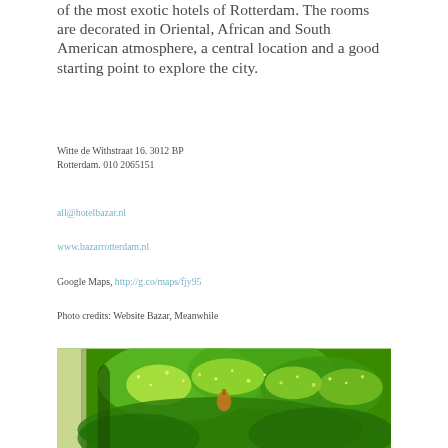of the most exotic hotels of Rotterdam. The rooms are decorated in Oriental, African and South American atmosphere, a central location and a good starting point to explore the city.
Witte de Withstraat 16. 3012 BP Rotterdam. 010 2065151
all@hotelbazar.nl
www.bazarrotterdam.nl
Google Maps, http://g.co/maps/fjy95
Photo credits: Website Bazar, Meanwhile
[Figure (photo): Interior photo of Hotel Bazar showing green decorative lights and tropical foliage in an ornate setting]